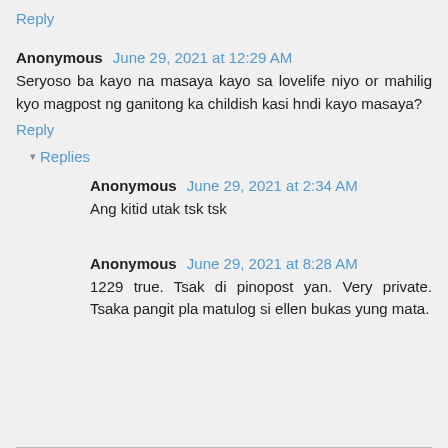Reply
Anonymous June 29, 2021 at 12:29 AM
Seryoso ba kayo na masaya kayo sa lovelife niyo or mahilig kyo magpost ng ganitong ka childish kasi hndi kayo masaya?
Reply
Replies
Anonymous June 29, 2021 at 2:34 AM
Ang kitid utak tsk tsk
Anonymous June 29, 2021 at 8:28 AM
1229 true. Tsak di pinopost yan. Very private. Tsaka pangit pla matulog si ellen bukas yung mata.